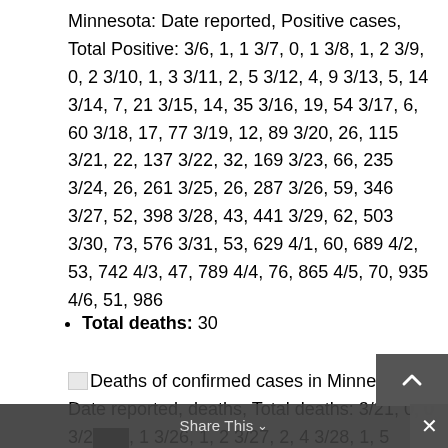Minnesota: Date reported, Positive cases, Total Positive: 3/6, 1, 1 3/7, 0, 1 3/8, 1, 2 3/9, 0, 2 3/10, 1, 3 3/11, 2, 5 3/12, 4, 9 3/13, 5, 14 3/14, 7, 21 3/15, 14, 35 3/16, 19, 54 3/17, 6, 60 3/18, 17, 77 3/19, 12, 89 3/20, 26, 115 3/21, 22, 137 3/22, 32, 169 3/23, 66, 235 3/24, 26, 261 3/25, 26, 287 3/26, 59, 346 3/27, 52, 398 3/28, 43, 441 3/29, 62, 503 3/30, 73, 576 3/31, 53, 629 4/1, 60, 689 4/2, 53, 742 4/3, 47, 789 4/4, 76, 865 4/5, 70, 935 4/6, 51, 986
Total deaths: 30
Deaths of confirmed cases in Minnesota: Date reported, deaths, Total deaths: 3/21, 0, 0 3/22, 1 3/26, 1, 2 3/27, 2, 4 3/28, 1, 5 3/29, 4, 9 3/30, 1, 10